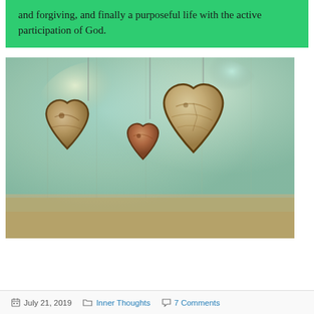and forgiving, and finally a purposeful life with the active participation of God.
[Figure (photo): Three wooden heart decorations hanging — a medium heart on the left, a smaller heart in the middle, and a large heart on the right, on a blurred teal/warm background.]
July 21, 2019   Inner Thoughts   7 Comments